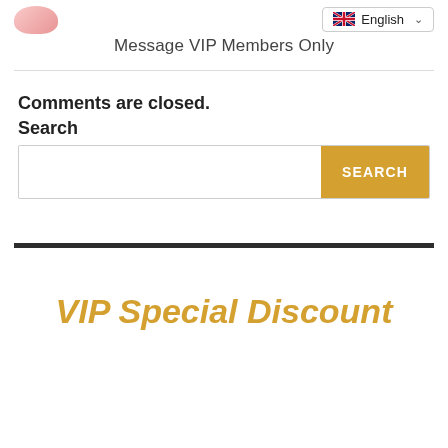[Figure (logo): Decorative logo image in top left corner]
[Figure (screenshot): Language selector dropdown showing UK flag and 'English' with chevron]
Message VIP Members Only
Comments are closed.
Search
[Figure (screenshot): Search bar with text input field and orange SEARCH button]
VIP Special Discount